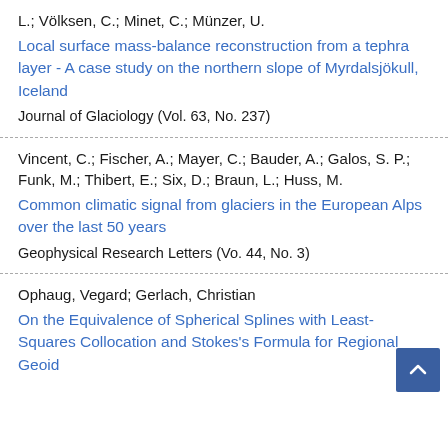L.; Völksen, C.; Minet, C.; Münzer, U.
Local surface mass-balance reconstruction from a tephra layer - A case study on the northern slope of Myrdalsjökull, Iceland
Journal of Glaciology (Vol. 63, No. 237)
Vincent, C.; Fischer, A.; Mayer, C.; Bauder, A.; Galos, S. P.; Funk, M.; Thibert, E.; Six, D.; Braun, L.; Huss, M.
Common climatic signal from glaciers in the European Alps over the last 50 years
Geophysical Research Letters (Vo. 44, No. 3)
Ophaug, Vegard; Gerlach, Christian
On the Equivalence of Spherical Splines with Least-Squares Collocation and Stokes's Formula for Regional Geoid